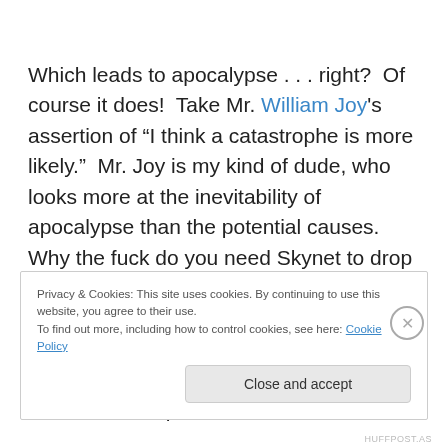Which leads to apocalypse . . . right?  Of course it does!  Take Mr. William Joy's assertion of “I think a catastrophe is more likely.”  Mr. Joy is my kind of dude, who looks more at the inevitability of apocalypse than the potential causes.  Why the fuck do you need Skynet to drop the nukes when you’ve got all sorts of extremists willing to do it?  And hell, that whole “global warming” shindig might not give us the reasonable time frame we need to develop the
Privacy & Cookies: This site uses cookies. By continuing to use this website, you agree to their use.
To find out more, including how to control cookies, see here: Cookie Policy
Close and accept
HUFFPOST.AS